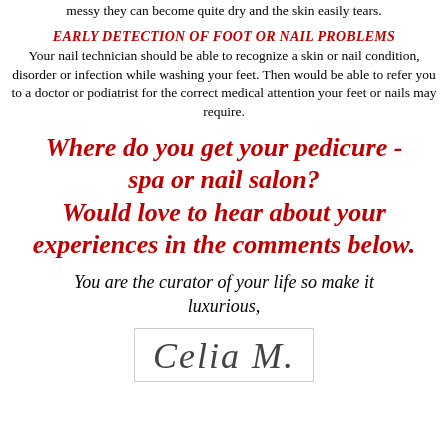messy they can become quite dry and the skin easily tears.
EARLY DETECTION OF FOOT OR NAIL PROBLEMS
Your nail technician should be able to recognize a skin or nail condition, disorder or infection while washing your feet. Then would be able to refer you to a doctor or podiatrist for the correct medical attention your feet or nails may require.
Where do you get your pedicure - spa or nail salon? Would love to hear about your experiences in the comments below.
You are the curator of your life so make it luxurious,
[Figure (illustration): Handwritten signature reading 'Celia M.' in cursive script inside a light-bordered box]